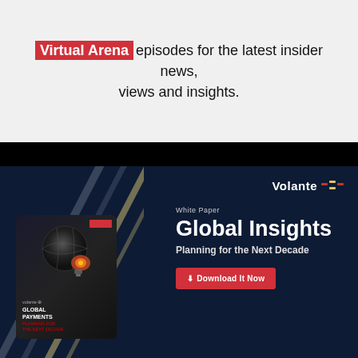Virtual Arena episodes for the latest insider news, views and insights.
[Figure (infographic): Volante Technologies advertisement banner for a White Paper titled 'Global Insights: Planning for the Next Decade'. Dark navy background with decorative diagonal lines. Shows a book cover with a globe/lightbulb image. Includes Volante logo, White Paper label, title text, and a red Download It Now button.]